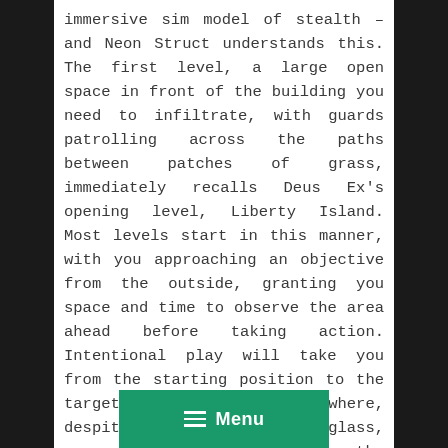immersive sim model of stealth – and Neon Struct understands this. The first level, a large open space in front of the building you need to infiltrate, with guards patrolling across the paths between patches of grass, immediately recalls Deus Ex's opening level, Liberty Island. Most levels start in this manner, with you approaching an objective from the outside, granting you space and time to observe the area ahead before taking action. Intentional play will take you from the starting position to the target building itself where, despite the abundance of glass, your ability to determine the layout and movement of NPCs inside is limited and you will be forced into a more improvisational play.